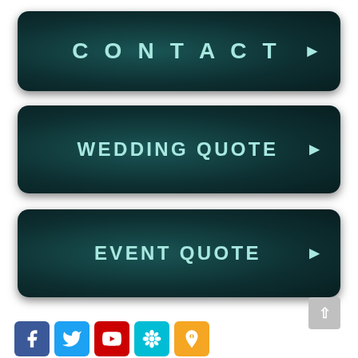[Figure (infographic): Dark teal rounded button labeled CONTACT with right-pointing arrow]
[Figure (infographic): Dark teal rounded button labeled WEDDING QUOTE with right-pointing arrow]
[Figure (infographic): Dark teal rounded button labeled EVENT QUOTE with right-pointing arrow]
[Figure (infographic): Row of social media icons: Facebook (blue), Twitter (light blue), YouTube (red), Wildfire (teal), Pinterest/push-pin (orange)]